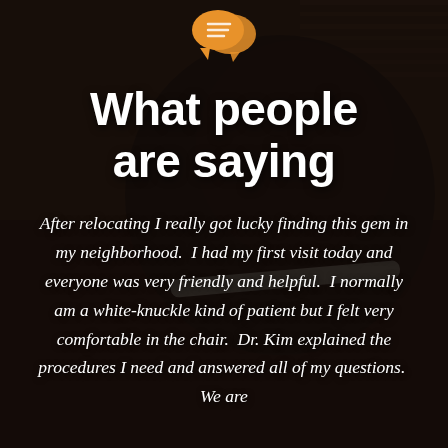[Figure (photo): Background photo of a person wearing dental/medical headgear/glasses equipment, in a dimly lit clinical setting. Dark overlay applied. Orange speech bubble icon at top center.]
What people are saying
After relocating I really got lucky finding this gem in my neighborhood.  I had my first visit today and everyone was very friendly and helpful.  I normally am a white-knuckle kind of patient but I felt very comfortable in the chair.  Dr. Kim explained the procedures I need and answered all of my questions.  We are